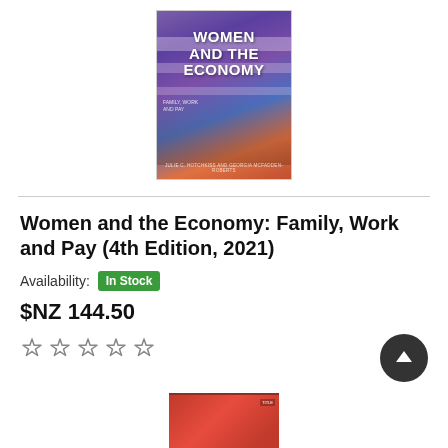[Figure (illustration): Book cover of 'Women and the Economy' with colorful illustrated figures on purple/orange background]
Women and the Economy: Family, Work and Pay (4th Edition, 2021)
Availability: In Stock
$NZ 144.50
[Figure (illustration): Five empty star rating icons]
[Figure (illustration): Partial view of another book cover at bottom of page (red cover)]